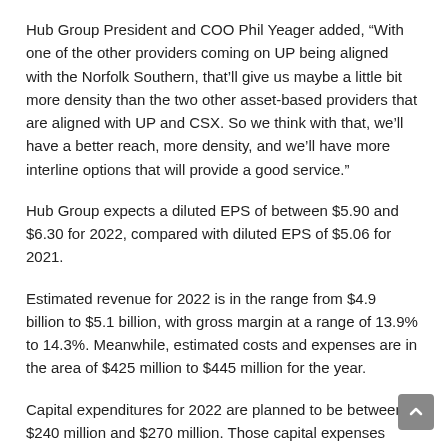Hub Group President and COO Phil Yeager added, “With one of the other providers coming on UP being aligned with the Norfolk Southern, that’ll give us maybe a little bit more density than the two other asset-based providers that are aligned with UP and CSX. So we think with that, we’ll have a better reach, more density, and we’ll have more interline options that will provide a good service.”
Hub Group expects a diluted EPS of between $5.90 and $6.30 for 2022, compared with diluted EPS of $5.06 for 2021.
Estimated revenue for 2022 is in the range from $4.9 billion to $5.1 billion, with gross margin at a range of 13.9% to 14.3%. Meanwhile, estimated costs and expenses are in the area of $425 million to $445 million for the year.
Capital expenditures for 2022 are planned to be between $240 million and $270 million. Those capital expenses include an order of 2,550 containers, including 550 of its next-generation containers...